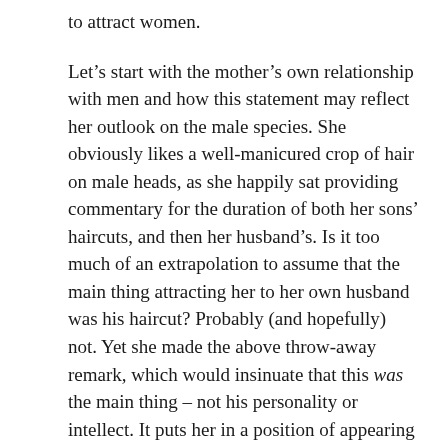to attract women.
Let's start with the mother's own relationship with men and how this statement may reflect her outlook on the male species. She obviously likes a well-manicured crop of hair on male heads, as she happily sat providing commentary for the duration of both her sons' haircuts, and then her husband's. Is it too much of an extrapolation to assume that the main thing attracting her to her own husband was his haircut? Probably (and hopefully) not. Yet she made the above throw-away remark, which would insinuate that this was the main thing – not his personality or intellect. It puts her in a position of appearing superficial if we are to assume haircuts are the main attraction she has to men.
Secondly, let's think about the boy. It doesn't do positive things for his self esteem to be told that he's